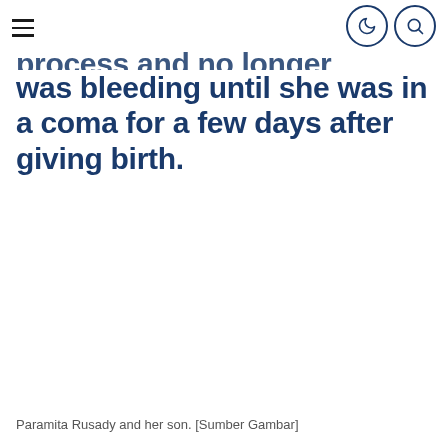[hamburger menu icon] [moon icon] [search icon]
process and no longer directly, she was bleeding until she was in a coma for a few days after giving birth.
Paramita Rusady and her son. [Sumber Gambar]